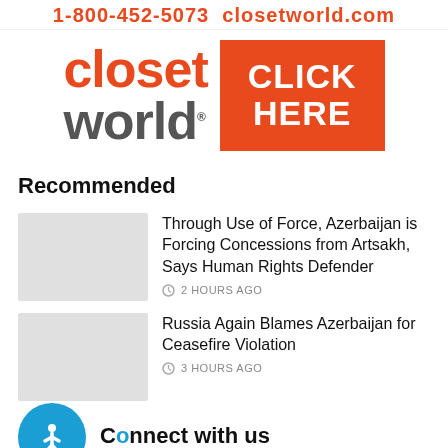1-800-452-5073  closetworld.com
[Figure (advertisement): Closet World advertisement banner with logo on left ('closet' in orange, 'world' in gray) and orange 'CLICK HERE' button on right]
Recommended
Through Use of Force, Azerbaijan is Forcing Concessions from Artsakh, Says Human Rights Defender — 2 HOURS AGO
Russia Again Blames Azerbaijan for Ceasefire Violation — 3 HOURS AGO
Connect with us